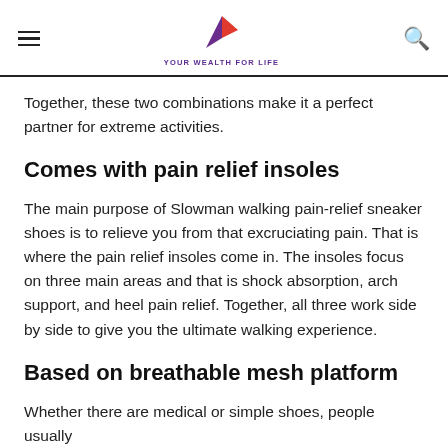YOUR WEALTH FOR LIFE
Together, these two combinations make it a perfect partner for extreme activities.
Comes with pain relief insoles
The main purpose of Slowman walking pain-relief sneaker shoes is to relieve you from that excruciating pain. That is where the pain relief insoles come in. The insoles focus on three main areas and that is shock absorption, arch support, and heel pain relief. Together, all three work side by side to give you the ultimate walking experience.
Based on breathable mesh platform
Whether there are medical or simple shoes, people usually